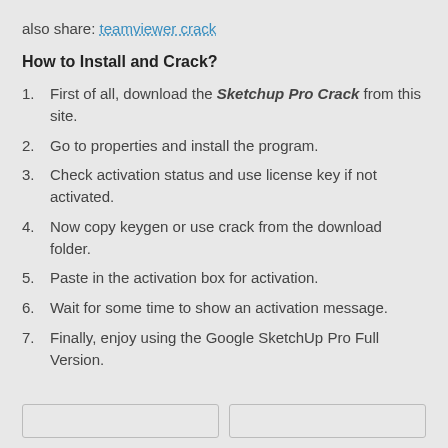also share: teamviewer crack
How to Install and Crack?
First of all, download the Sketchup Pro Crack from this site.
Go to properties and install the program.
Check activation status and use license key if not activated.
Now copy keygen or use crack from the download folder.
Paste in the activation box for activation.
Wait for some time to show an activation message.
Finally, enjoy using the Google SketchUp Pro Full Version.